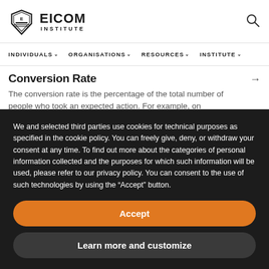[Figure (logo): EICOM Institute logo with shield emblem]
INDIVIDUALS  ORGANISATIONS  RESOURCES  INSTITUTE
Conversion Rate
The conversion rate is the percentage of the total number of people who took an expected action. For example, on
SEO (Search Engine Optimization)
93% of online experiences begin with a search engine.
We and selected third parties use cookies for technical purposes as specified in the cookie policy. You can freely give, deny, or withdraw your consent at any time. To find out more about the categories of personal information collected and the purposes for which such information will be used, please refer to our privacy policy. You can consent to the use of such technologies by using the “Accept” button.
Accept
Learn more and customize